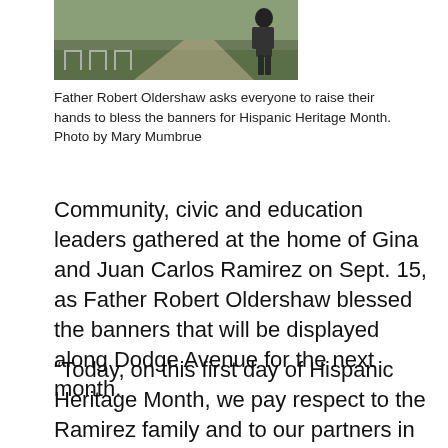[Figure (photo): Outdoor scene showing folding chairs on grass and a person standing, related to Hispanic Heritage Month banner blessing event]
Father Robert Oldershaw asks everyone to raise their hands to bless the banners for Hispanic Heritage Month. Photo by Mary Mumbrue
Community, civic and education leaders gathered at the home of Gina and Juan Carlos Ramirez on Sept. 15, as Father Robert Oldershaw blessed the banners that will be displayed along Dodge Avenue for the next month.
“Today, on this first day of Hispanic Heritage Month, we pay respect to the Ramirez family and to our partners in the City of Evanston, who have committed to the principles of